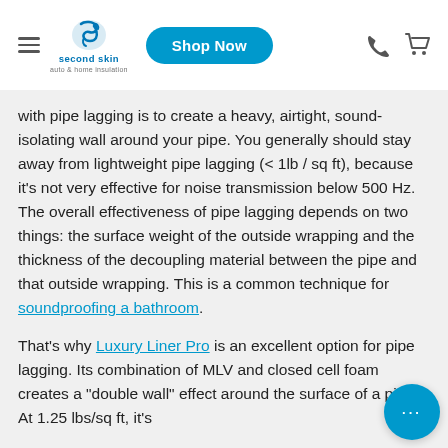second skin auto & home insulation — Shop Now
with pipe lagging is to create a heavy, airtight, sound-isolating wall around your pipe. You generally should stay away from lightweight pipe lagging (< 1lb / sq ft), because it's not very effective for noise transmission below 500 Hz. The overall effectiveness of pipe lagging depends on two things: the surface weight of the outside wrapping and the thickness of the decoupling material between the pipe and that outside wrapping. This is a common technique for soundproofing a bathroom.
That's why Luxury Liner Pro is an excellent option for pipe lagging. Its combination of MLV and closed cell foam creates a "double wall" effect around the surface of a pipe. At 1.25 lbs/sq ft, it's